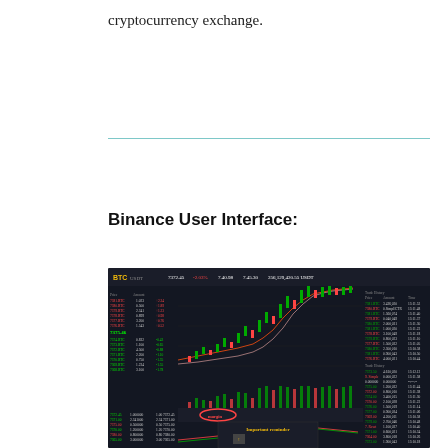cryptocurrency exchange.
[Figure (screenshot): Binance cryptocurrency exchange trading interface showing BTC trading chart with candlestick chart going upward, order book on left showing red/green prices, trade history on right, volume bars at bottom, and a popup dialog with 'Important reminder' text in yellow. There is a red circled element labeled 'margin' near the bottom of the chart area.]